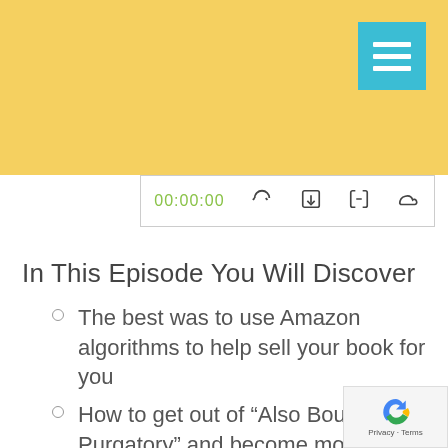[Figure (screenshot): Yellow header bar with cyan hamburger menu button in top right]
[Figure (screenshot): Podcast player bar showing time 00:00:00 and icons for subscribe, download, embed, and SoundCloud]
In This Episode You Will Discover
The best was to use Amazon algorithms to help sell your book for you
How to get out of “Also Bought Purgatory” and become more visible on Amazon
And why you should NOT tell any of your friends and family that